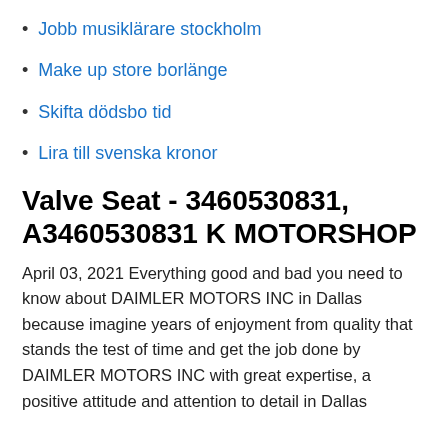Jobb musiklärare stockholm
Make up store borlänge
Skifta dödsbo tid
Lira till svenska kronor
Valve Seat - 3460530831, A3460530831 K MOTORSHOP
April 03, 2021 Everything good and bad you need to know about DAIMLER MOTORS INC in Dallas because imagine years of enjoyment from quality that stands the test of time and get the job done by DAIMLER MOTORS INC with great expertise, a positive attitude and attention to detail in Dallas